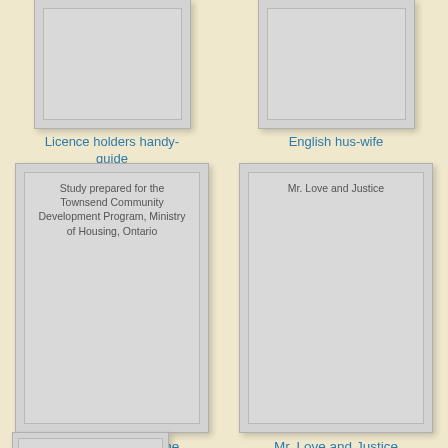[Figure (illustration): Book cover thumbnail with grey background, no visible text]
Licence holders handy-guide
[Figure (illustration): Book cover thumbnail with grey background, no visible text]
English hus-wife
[Figure (illustration): Book cover with text: Study prepared for the Townsend Community Development Program, Ministry of Housing, Ontario]
Study prepared for the Townsend Community Development Program, Ministry of Housing, Ontario
[Figure (illustration): Book cover with text: Mr. Love and Justice]
Mr. Love and Justice
[Figure (illustration): Partial book cover thumbnail at the bottom, grey background]